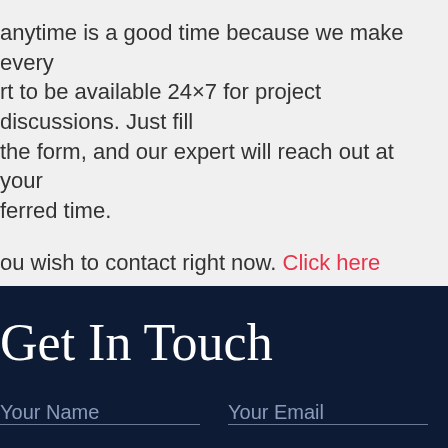anytime is a good time because we make every rt to be available 24×7 for project discussions. Just fill the form, and our expert will reach out at your ferred time.
ou wish to contact right now. Click here
Get In Touch
Your Name    Your Email
best way to reach you
Example: Skype: Andrew01 or Email: andrew@wecome.com